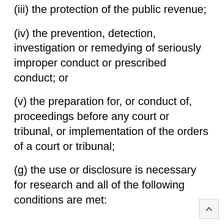(iii) the protection of the public revenue;
(iv) the prevention, detection, investigation or remedying of seriously improper conduct or prescribed conduct; or
(v) the preparation for, or conduct of, proceedings before any court or tribunal, or implementation of the orders of a court or tribunal;
(g) the use or disclosure is necessary for research and all of the following conditions are met: